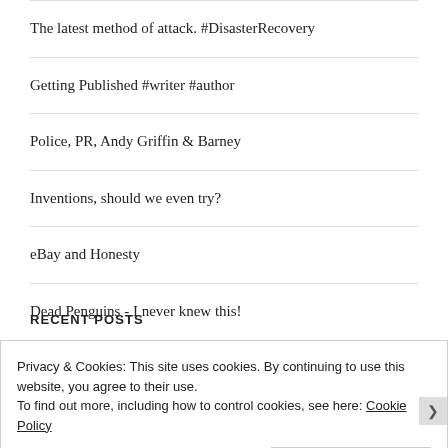The latest method of attack. #DisasterRecovery
Getting Published #writer #author
Police, PR, Andy Griffin & Barney
Inventions, should we even try?
eBay and Honesty
Dead Penguins - I never knew this!
RECENT POSTS
Privacy & Cookies: This site uses cookies. By continuing to use this website, you agree to their use.
To find out more, including how to control cookies, see here: Cookie Policy
Close and accept